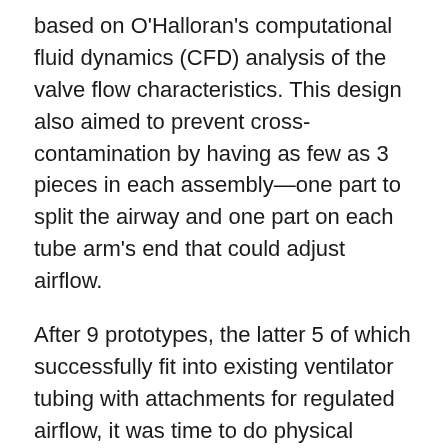based on O'Halloran's computational fluid dynamics (CFD) analysis of the valve flow characteristics. This design also aimed to prevent cross-contamination by having as few as 3 pieces in each assembly—one part to split the airway and one part on each tube arm's end that could adjust airflow.
After 9 prototypes, the latter 5 of which successfully fit into existing ventilator tubing with attachments for regulated airflow, it was time to do physical testing. Prototypes were sent to Scott and the respiratory team at Memorial Hospital for testing with ventilators. Ultimately testing revealed the splitter was able to modify airflow but not enough to match the initial CFD modeling and